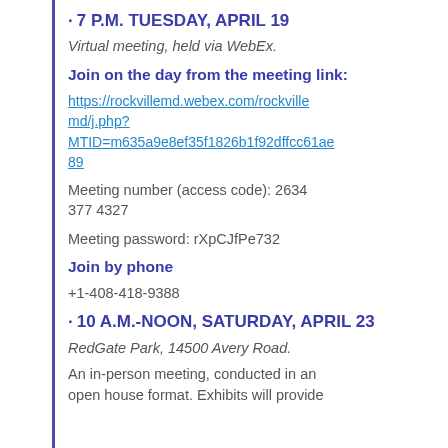· 7 P.M. TUESDAY, APRIL 19
Virtual meeting, held via WebEx.
Join on the day from the meeting link:
https://rockvillemd.webex.com/rockvillemd/j.php?MTID=m635a9e8ef35f1826b1f92dffcc61ae89
Meeting number (access code): 2634 377 4327
Meeting password: rXpCJfPe732
Join by phone
+1-408-418-9388
· 10 A.M.-NOON, SATURDAY, APRIL 23
RedGate Park, 14500 Avery Road.
An in-person meeting, conducted in an open house format. Exhibits will provide